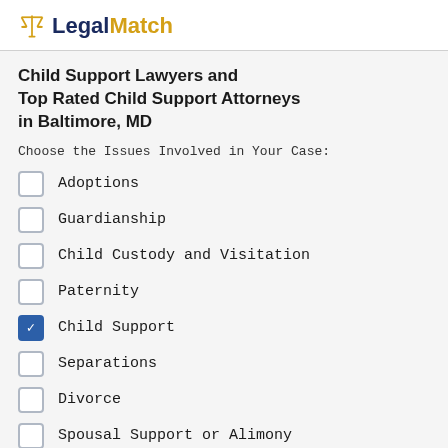LegalMatch
Child Support Lawyers and Top Rated Child Support Attorneys in Baltimore, MD
Choose the Issues Involved in Your Case:
Adoptions
Guardianship
Child Custody and Visitation
Paternity
Child Support (checked)
Separations
Divorce
Spousal Support or Alimony